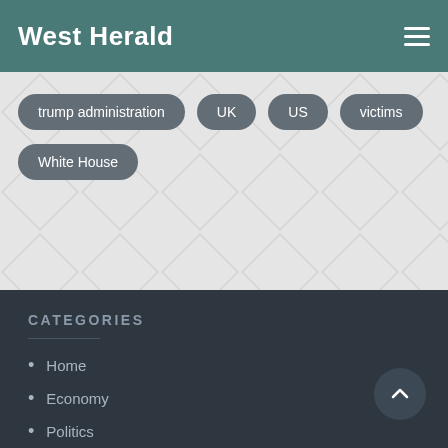West Herald
trump administration
UK
US
victims
White House
CATEGORIES
Home
Economy
Politics
Social